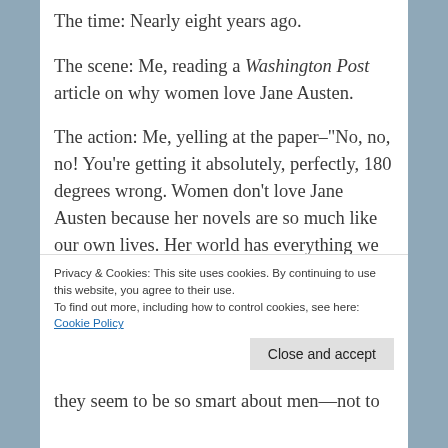The time: Nearly eight years ago.
The scene: Me, reading a Washington Post article on why women love Jane Austen.
The action: Me, yelling at the paper–"No, no, no! You're getting it absolutely, perfectly, 180 degrees wrong. Women don't love Jane Austen because her novels are so much like our own lives. Her world has everything we don't have–and that we're longing for!" (Or words to that effect.)
So I started writing an article about why women really love Jane Austen, and what we want from
Privacy & Cookies: This site uses cookies. By continuing to use this website, you agree to their use.
To find out more, including how to control cookies, see here: Cookie Policy
they seem to be so smart about men—not to